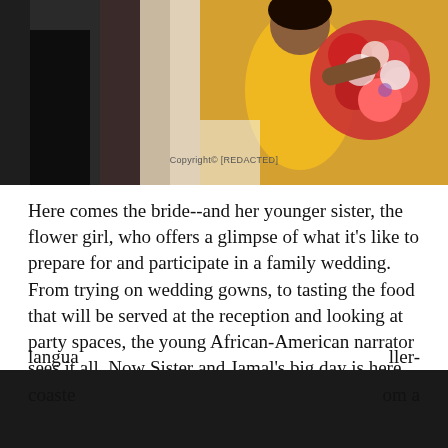[Figure (illustration): Split image: left side shows a person in dark clothing (likely the bride), right side shows an illustrated African-American figure in yellow dress holding a bouquet of red and white flowers. Copyright text visible in the middle.]
Here comes the bride--and her younger sister, the flower girl, who offers a glimpse of what it's like to prepare for and participate in a family wedding. From trying on wedding gowns, to tasting the food that will be served at the reception and looking at party spaces, the young African-American narrator sees it all. Now Sister and Jamal's big day is here. The flower girl alternates between happiness and sadness: she's glad to be taking part in the joyous celebration, yet sorry to see her older sister leave home. Johnson's (Toning the Sweep) poetic langua[REDACTED]ller-coaste[REDACTED]om a